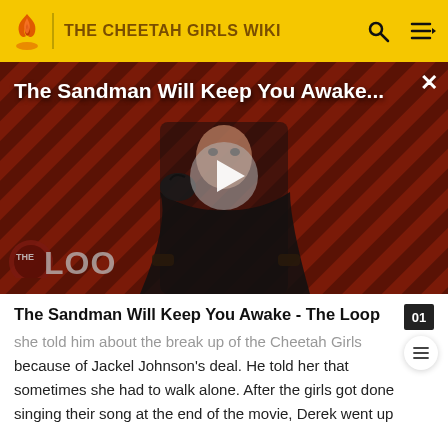THE CHEETAH GIRLS WIKI
[Figure (screenshot): Video thumbnail showing a dark-cloaked figure against a red diagonal striped background with a raven/crow, with a play button overlay and 'THE LOOP' watermark. Title 'The Sandman Will Keep You Awake...' displayed in white text at top.]
The Sandman Will Keep You Awake - The Loop
she told him about the break up of the Cheetah Girls because of Jackel Johnson's deal. He told her that sometimes she had to walk alone. After the girls got done singing their song at the end of the movie, Derek went up